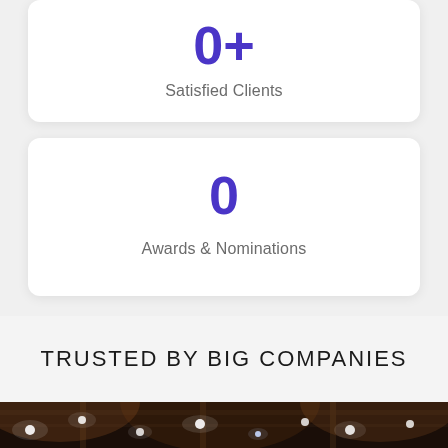0+
Satisfied Clients
0
Awards & Nominations
TRUSTED BY BIG COMPANIES
[Figure (photo): Dark venue/concert hall photo with ceiling stage lights and truss rigging visible from below, warm amber and white lights against a dark ceiling]